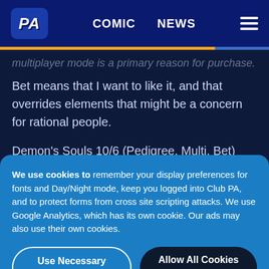PA | COMIC | NEWS
multiplayer mode is a primary reason for purchase. Bet means that I want to like it, and that overrides elements that might be a concern for rational people.
Demon's Souls 10/6 (Pedigree, Multi, Bet)
We use cookies to remember your display preferences for fonts and Day/Night mode, keep you logged into Club PA, and to protect forms from cross site scripting attacks. We use Google Analytics, which has its own cookie. Our ads may also use their own cookies.
Use Necessary Cookies Only
Allow All Cookies